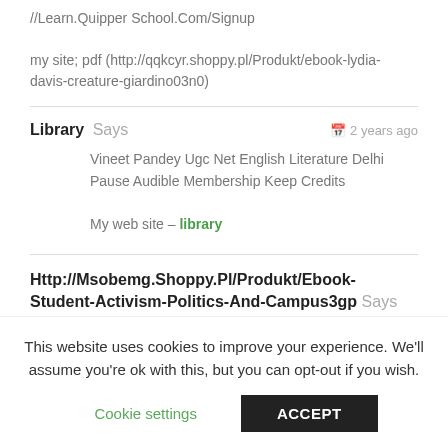//Learn.Quipper School.Com/Signup
my site; pdf (http://qqkcyr.shoppy.pl/Produkt/ebook-lydia-davis-creature-giardino03n0)
Library Says — 2 years ago
Vineet Pandey Ugc Net English Literature Delhi
Pause Audible Membership Keep Credits

My web site – library
Http://Msobemg.Shoppy.Pl/Produkt/Ebook-Student-Activism-Politics-And-Campus3gp Says
This website uses cookies to improve your experience. We'll assume you're ok with this, but you can opt-out if you wish.
Cookie settings
ACCEPT